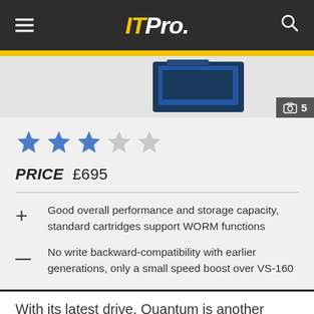ITPro.
[Figure (photo): Product image of a tape drive device, partially visible at top of review card. Image counter badge showing 5 images.]
★★★☆☆ (3 out of 5 stars)
PRICE £695
+ Good overall performance and storage capacity, standard cartridges support WORM functions
— No write backward-compatibility with earlier generations, only a small speed boost over VS-160
With its latest drive, Quantum is another